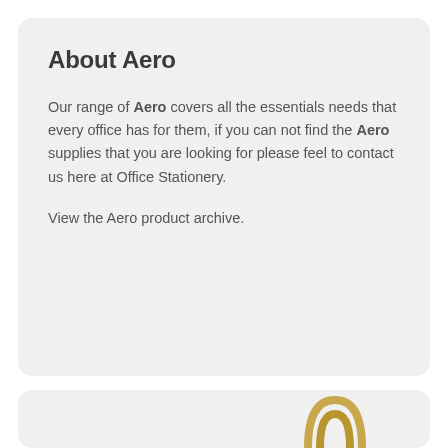About Aero
Our range of Aero covers all the essentials needs that every office has for them, if you can not find the Aero supplies that you are looking for please feel to contact us here at Office Stationery.
View the Aero product archive.
[Figure (photo): Partial view of a gold/yellow paper clip on a light grey background, cropped at the bottom of the page]